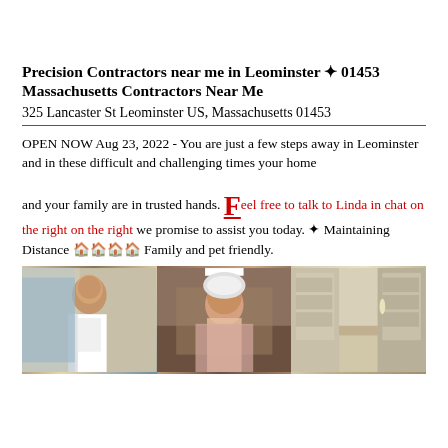Precision Contractors near me in Leominster ✦ 01453 Massachusetts Contractors Near Me
325 Lancaster St Leominster US, Massachusetts 01453
OPEN NOW Aug 23, 2022 - You are just a few steps away in Leominster and in these difficult and challenging times your home and your family are in trusted hands. Feel free to talk to Linda in chat on the right on the right we promise to assist you today. ✦ Maintaining Distance 🏠🏠🏠🏠 Family and pet friendly.
[Figure (photo): Man in white t-shirt holding painting tools near a van]
[Figure (photo): Woman in hardhat and pink shirt at construction site]
[Figure (photo): Interior of a luxury kitchen with cabinets and counter]